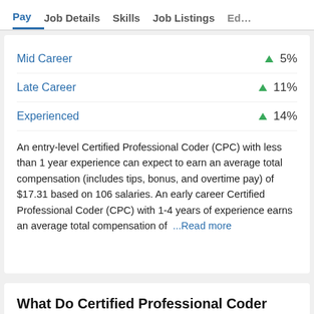Pay  Job Details  Skills  Job Listings  Ed…
Mid Career ▲ 5%
Late Career ▲ 11%
Experienced ▲ 14%
An entry-level Certified Professional Coder (CPC) with less than 1 year experience can expect to earn an average total compensation (includes tips, bonus, and overtime pay) of $17.31 based on 106 salaries. An early career Certified Professional Coder (CPC) with 1-4 years of experience earns an average total compensation of  ...Read more
What Do Certified Professional Coder (CPC)s Do?